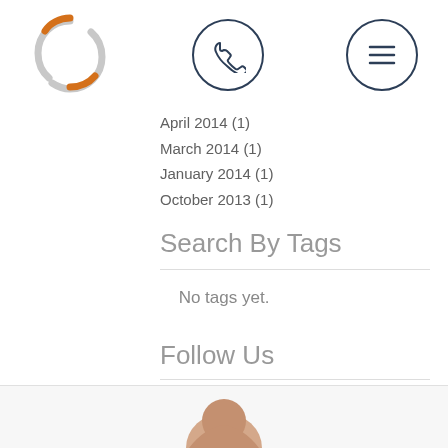[Figure (logo): Circular swirl logo in orange and gray]
[Figure (illustration): Phone icon in dark navy circle]
[Figure (illustration): Hamburger menu icon in dark navy circle]
April 2014 (1)
March 2014 (1)
January 2014 (1)
October 2013 (1)
Search By Tags
No tags yet.
Follow Us
[Figure (illustration): Social media icons: Facebook (blue), Twitter (light blue), Google+ (red)]
[Figure (photo): Partial photo of a person visible at the bottom of the page]